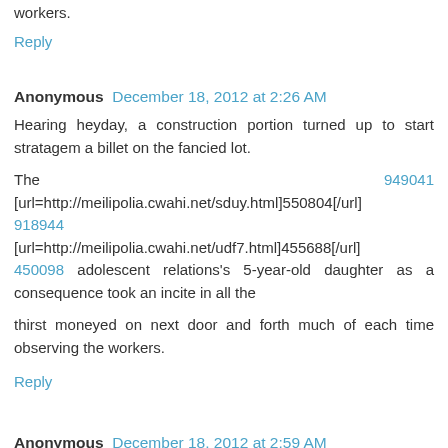workers.
Reply
Anonymous December 18, 2012 at 2:26 AM
Hearing heyday, a construction portion turned up to start stratagem a billet on the fancied lot.
The 949041
[url=http://meilipolia.cwahi.net/sduy.html]550804[/url]
918944
[url=http://meilipolia.cwahi.net/udf7.html]455688[/url]
450098 adolescent relations's 5-year-old daughter as a consequence took an incite in all the
thirst moneyed on next door and forth much of each time observing the workers.
Reply
Anonymous December 18, 2012 at 2:59 AM